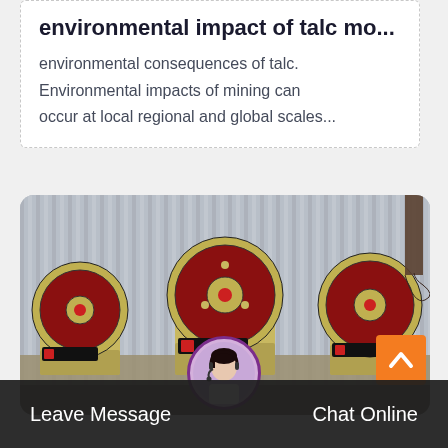environmental impact of talc mo...
environmental consequences of talc. Environmental impacts of mining can occur at local regional and global scales...
[Figure (photo): Industrial jaw crusher machines in a factory setting, with large circular flywheels in red and beige colors, against a corrugated metal wall background.]
Leave Message
Chat Online